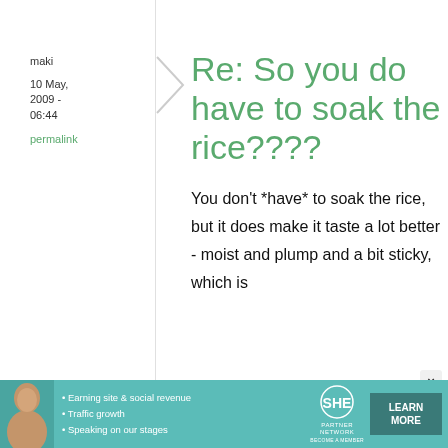maki
10 May, 2009 - 06:44
permalink
Re: So you do have to soak the rice????
You don't *have* to soak the rice, but it does make it taste a lot better - moist and plump and a bit sticky, which is
[Figure (infographic): Ad banner for SHE Partner Network with woman photo, bullet points: Earning site & social revenue, Traffic growth, Speaking on our stages, SHE logo, LEARN MORE button]